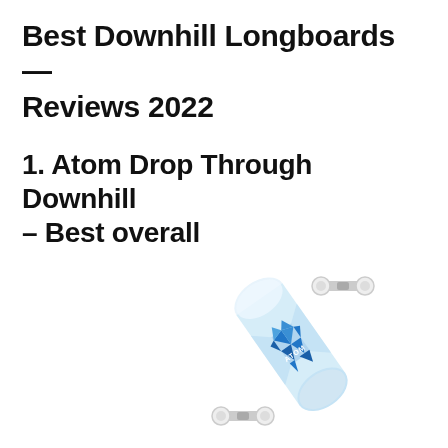Best Downhill Longboards — Reviews 2022
1. Atom Drop Through Downhill – Best overall
[Figure (photo): Photo of an Atom Drop Through Downhill longboard with a white and blue geometric/triangular pattern design, shown at a diagonal angle with white wheels and silver trucks.]